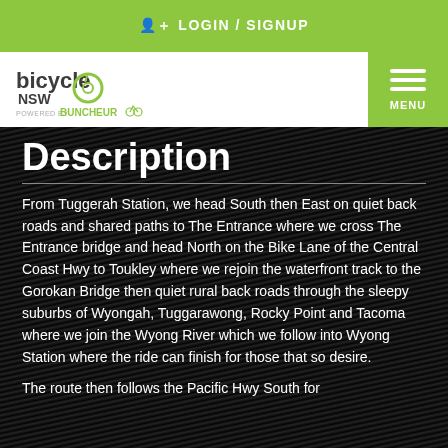LOGIN / SIGNUP
[Figure (logo): Bicycle NSW logo with Buncheur branding below]
Description
From Tuggerah Station, we head South then East on quiet back roads and shared paths to The Entrance where we cross The Entrance bridge and head North on the Bike Lane of the Central Coast Hwy to Toukley where we rejoin the waterfront track to the Gorokan Bridge then quiet rural back roads through the sleepy suburbs of Wyongah, Tuggarawong, Rocky Point and Tacoma where we join the Wyong River which we follow into Wyong Station where the ride can finish for those that so desire.
The route then follows the Pacific Hwy South for